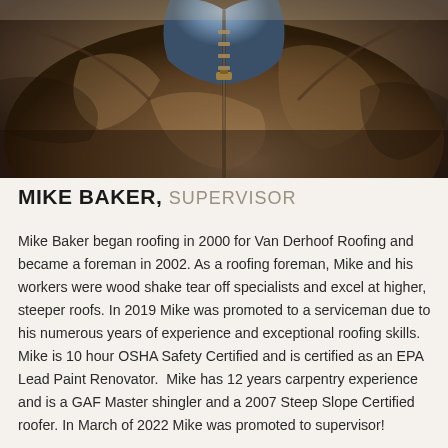[Figure (photo): Close-up photo of a person wearing a worn brown leather jacket with a zipper, showing the torso and lower neck area.]
MIKE BAKER, SUPERVISOR
Mike Baker began roofing in 2000 for Van Derhoof Roofing and became a foreman in 2002. As a roofing foreman, Mike and his workers were wood shake tear off specialists and excel at higher, steeper roofs. In 2019 Mike was promoted to a serviceman due to his numerous years of experience and exceptional roofing skills. Mike is 10 hour OSHA Safety Certified and is certified as an EPA Lead Paint Renovator.  Mike has 12 years carpentry experience and is a GAF Master shingler and a 2007 Steep Slope Certified roofer. In March of 2022 Mike was promoted to supervisor!